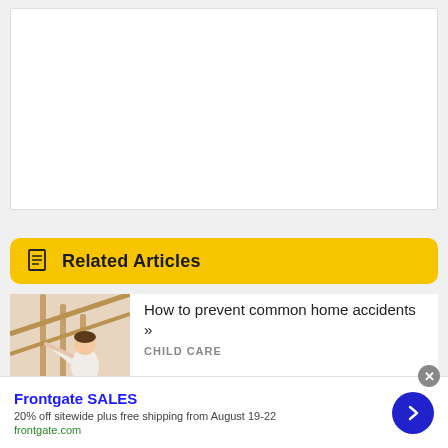[Figure (other): White card area (blank content)]
Related Articles
[Figure (photo): Photo of a child sitting on stairs, leaning against a banister]
How to prevent common home accidents »
CHILD CARE
Frontgate SALES
20% off sitewide plus free shipping from August 19-22
frontgate.com